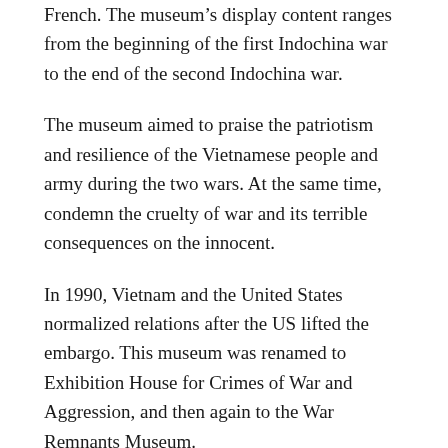French. The museum's display content ranges from the beginning of the first Indochina war to the end of the second Indochina war.
The museum aimed to praise the patriotism and resilience of the Vietnamese people and army during the two wars. At the same time, condemn the cruelty of war and its terrible consequences on the innocent.
In 1990, Vietnam and the United States normalized relations after the US lifted the embargo. This museum was renamed to Exhibition House for Crimes of War and Aggression, and then again to the War Remnants Museum.
After 35 years of establishment and development, the war remnants museum has welcomed more than 15 million visitors, including Vietnamese and foreigners. The museum